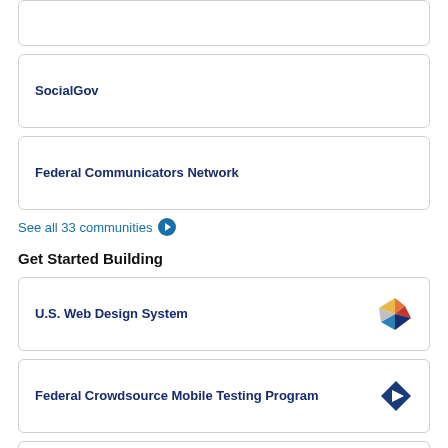SocialGov
Federal Communicators Network
See all 33 communities →
Get Started Building
U.S. Web Design System
Federal Crowdsource Mobile Testing Program
U.S. Digital Registry